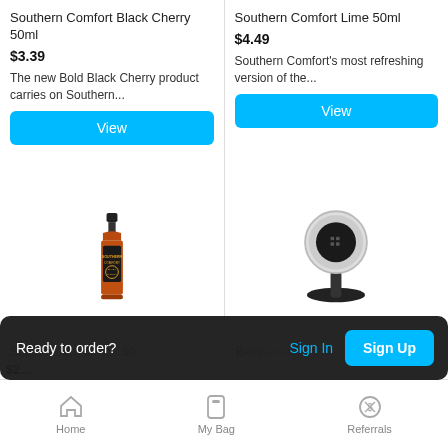Southern Comfort Black Cherry 50ml
$3.39
The new Bold Black Cherry product carries on Southern...
[Figure (photo): Small bottle of Southern Comfort Black Cherry 50ml]
Southern Comfort Lime 50ml
$4.49
Southern Comfort's most refreshing version of the...
[Figure (photo): Black phone holder/mount device]
Sout... Comfort B... 50...
$2...
Ready to order?
Sign In
Sign Up
Home   My Bag   Referrals